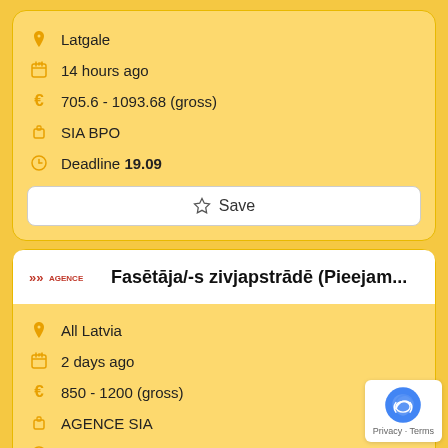Latgale
14 hours ago
705.6 - 1093.68 (gross)
SIA BPO
Deadline 19.09
☆ Save
Fasētāja/-s zivjapstrādē (Pieejam...
All Latvia
2 days ago
850 - 1200 (gross)
AGENCE SIA
Deadline 18.09